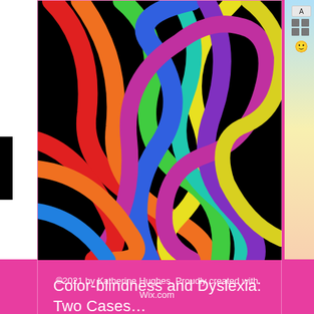[Figure (illustration): Colorful interlocking ribbon knots on black background — red, orange, yellow, green, blue, purple, teal ribbons woven together]
Color-blindness and Dyslexia: Two Cases…
👁 6  💬 0  ♡
[Figure (other): Pagination dots: one white filled dot followed by two lighter dots]
©2021 by Katherine Hughes. Proudly created with Wix.com